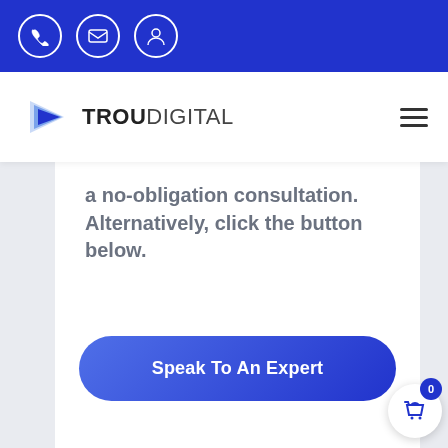[Figure (screenshot): Top blue navigation bar with three circular icon buttons (phone, email, user/account) in white on blue background]
[Figure (logo): TrouDigital logo: blue play-button arrow icon followed by bold text TROU DIGITAL, with hamburger menu icon on the right]
a no-obligation consultation. Alternatively, click the button below.
[Figure (infographic): Blue gradient rounded rectangle call-to-action button with white bold text: Speak To An Expert]
[Figure (infographic): Shopping cart widget in bottom right: white circle with blue basket icon, and small blue badge showing number 0]